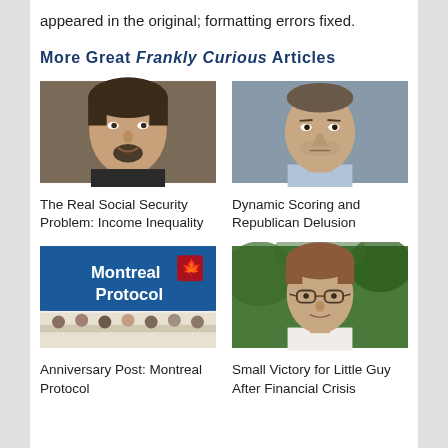appeared in the original; formatting errors fixed.
More Great Frankly Curious Articles
[Figure (photo): Headshot of a middle-aged man with goatee in formal attire]
The Real Social Security Problem: Income Inequality
[Figure (photo): Headshot of a younger man with short dark hair and stubble]
Dynamic Scoring and Republican Delusion
[Figure (photo): Photo of Montreal Protocol conference banner with people seated at a table]
Anniversary Post: Montreal Protocol
[Figure (photo): Headshot of a man with glasses and reddish-brown hair]
Small Victory for Little Guy After Financial Crisis